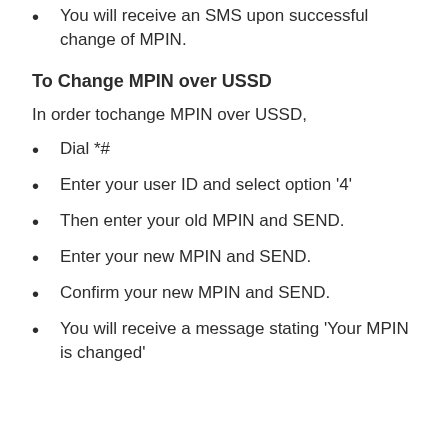You will receive an SMS upon successful change of MPIN.
To Change MPIN over USSD
In order tochange MPIN over USSD,
Dial *#
Enter your user ID and select option '4'
Then enter your old MPIN and SEND.
Enter your new MPIN and SEND.
Confirm your new MPIN and SEND.
You will receive a message stating 'Your MPIN is changed'